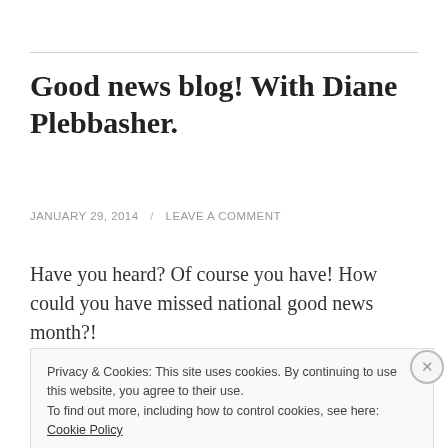Good news blog! With Diane Plebbasher.
JANUARY 29, 2014 / LEAVE A COMMENT
Have you heard? Of course you have! How could you have missed national good news month?!
It makes such a nice change to switch on the news and
Privacy & Cookies: This site uses cookies. By continuing to use this website, you agree to their use.
To find out more, including how to control cookies, see here: Cookie Policy
Close and accept